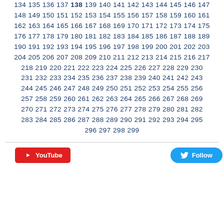134 135 136 137 138 139 140 141 142 143 144 145 146 147 148 149 150 151 152 153 154 155 156 157 158 159 160 161 162 163 164 165 166 167 168 169 170 171 172 173 174 175 176 177 178 179 180 181 182 183 184 185 186 187 188 189 190 191 192 193 194 195 196 197 198 199 200 201 202 203 204 205 206 207 208 209 210 211 212 213 214 215 216 217 218 219 220 221 222 223 224 225 226 227 228 229 230 231 232 233 234 235 236 237 238 239 240 241 242 243 244 245 246 247 248 249 250 251 252 253 254 255 256 257 258 259 260 261 262 263 264 265 266 267 268 269 270 271 272 273 274 275 276 277 278 279 280 281 282 283 284 285 286 287 288 289 290 291 292 293 294 295 296 297 298 299
[Figure (other): YouTube button and Twitter Follow button in social bar]